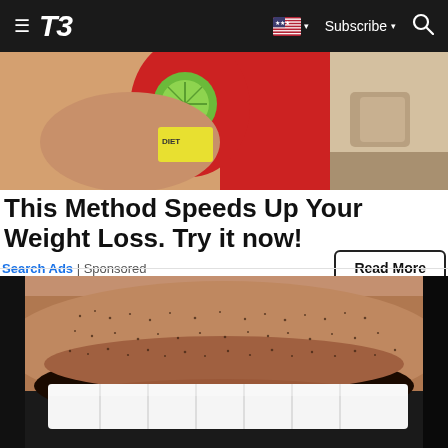T3 — Navigation bar with hamburger menu, T3 logo, US flag, Subscribe, and Search
[Figure (photo): Close-up photo of hands holding food/drink items, person in red outfit, advertisement image for weight loss method]
This Method Speeds Up Your Weight Loss. Try it now!
Search Ads | Sponsored
Read More
[Figure (photo): Extreme close-up photo of a man's mouth/lower face showing white teeth and facial stubble]